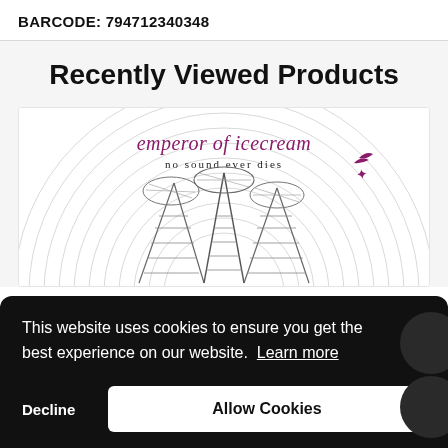BARCODE: 794712340348
Recently Viewed Products
[Figure (illustration): Album cover art for 'emperor of icecream' – 'no sound ever dies'. Shows geometric line-art of tower/antenna structures with concentric circle background, small bird silhouette top right, band name in purple text, subtitle in black text.]
This website uses cookies to ensure you get the best experience on our website. Learn more
Decline
Allow Cookies